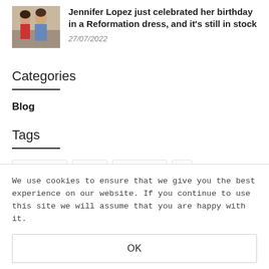[Figure (photo): Thumbnail photo of Jennifer Lopez with a man, outdoor setting]
Jennifer Lopez just celebrated her birthday in a Reformation dress, and it's still in stock
27/07/2022
Categories
Blog
Tags
We use cookies to ensure that we give you the best experience on our website. If you continue to use this site we will assume that you are happy with it.
OK